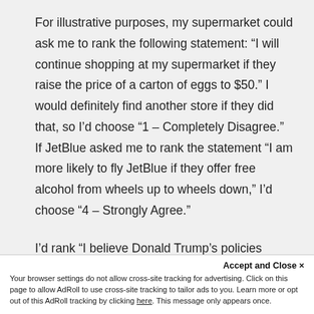For illustrative purposes, my supermarket could ask me to rank the following statement: “I will continue shopping at my supermarket if they raise the price of a carton of eggs to $50.” I would definitely find another store if they did that, so I’d choose “1 – Completely Disagree.” If JetBlue asked me to rank the statement “I am more likely to fly JetBlue if they offer free alcohol from wheels up to wheels down,” I’d choose “4 – Strongly Agree.”
I’d rank “I believe Donald Trump’s policies on…” never mind, you get it.
Accept and Close × Your browser settings do not allow cross-site tracking for advertising. Click on this page to allow AdRoll to use cross-site tracking to tailor ads to you. Learn more or opt out of this AdRoll tracking by clicking here. This message only appears once.